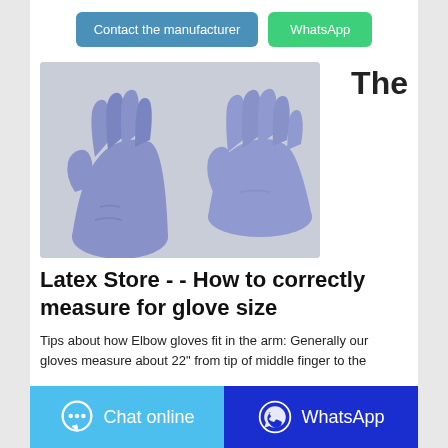Contact the manufacturer
WhatsApp
[Figure (photo): Two hands wearing blue/purple latex gloves, one hand being pulled onto the other wrist, against a light gray background]
The
Latex Store - - How to correctly measure for glove size
Tips about how Elbow gloves fit in the arm: Generally our gloves measure about 22" from tip of middle finger to the
Chat online
WhatsApp